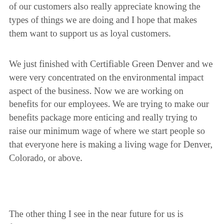of our customers also really appreciate knowing the types of things we are doing and I hope that makes them want to support us as loyal customers.
We just finished with Certifiable Green Denver and we were very concentrated on the environmental impact aspect of the business. Now we are working on benefits for our employees. We are trying to make our benefits package more enticing and really trying to raise our minimum wage of where we start people so that everyone here is making a living wage for Denver, Colorado, or above.
The other thing I see in the near future for us is focusing on the products that